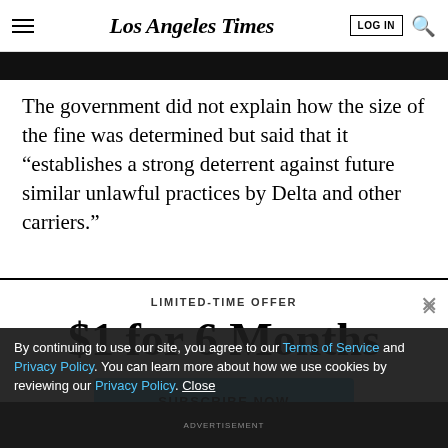Los Angeles Times
[Figure (screenshot): Black image strip / article image banner partially visible]
The government did not explain how the size of the fine was determined but said that it “establishes a strong deterrent against future similar unlawful practices by Delta and other carriers.”
LIMITED-TIME OFFER
$1 for 6 Months
SUBSCRIBE NOW
By continuing to use our site, you agree to our Terms of Service and Privacy Policy. You can learn more about how we use cookies by reviewing our Privacy Policy. Close